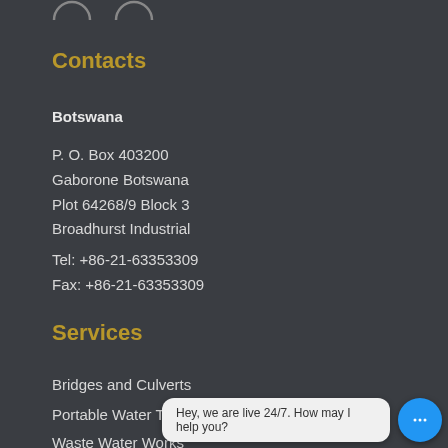[Figure (other): Partial circular icons at the top of the page]
Contacts
Botswana
P. O. Box 403200
Gaborone Botswana
Plot 64268/9 Block 3
Broadhurst Industrial
Tel: +86-21-63353309
Fax: +86-21-63353309
Services
Bridges and Culverts
Portable Water T…
Waste Water Works